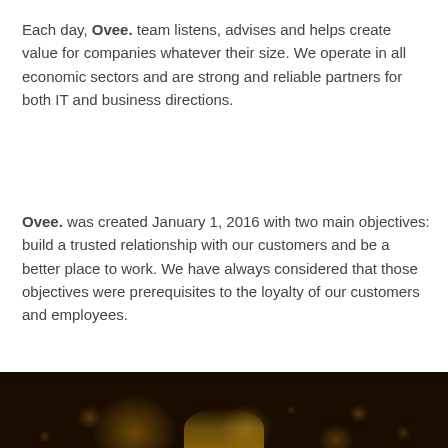Each day, Ovee. team listens, advises and helps create value for companies whatever their size. We operate in all economic sectors and are strong and reliable partners for both IT and business directions.
Ovee. was created January 1, 2016 with two main objectives: build a trusted relationship with our customers and be a better place to work. We have always considered that those objectives were prerequisites to the loyalty of our customers and employees.
[Figure (other): Navigation bar with hamburger menu icon (three horizontal lines) centered inside a rounded rectangle border]
[Figure (photo): Dark photo with bokeh golden light circles and a gold trophy or crown shape at the bottom center against a black background]